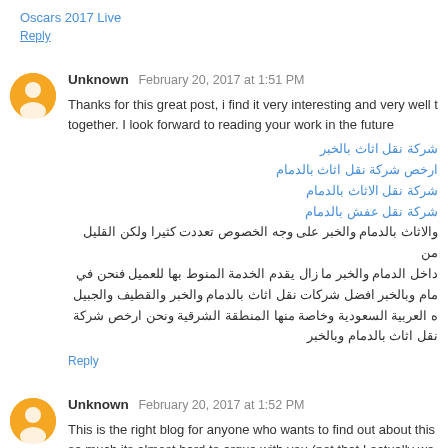Oscars 2017 Live
Reply
Unknown  February 20, 2017 at 1:51 PM
Thanks for this great post, i find it very interesting and very well together. I look forward to reading your work in the future
شركة نقل اثاث بالخبر
ارخص شركة نقل اثاث بالدمام
شركة نقل الاثاث بالدمام
شركة نقل عفش بالدمام
والاثاث بالدمام والخبر على وجه الخصوص تعددت كثيرا ولكن القليل من داخل الدمام والخبر ما زال يقدم الخدمة المنوط بها للعميل فنحن في مام وبالخبر افضل شركات نقل اثاث بالدمام والخبر والقطيف والجبيل ه العربية السعودية وخاصة منها المنطقة الشرقية ونحن ارخص شركة نقل اثاث بالدمام وبالخبر
Reply
Unknown  February 20, 2017 at 1:52 PM
This is the right blog for anyone who wants to find out about this so much its almost hard to argue with you (not that I actually wo You definitely put a new spin on a topic thats been written about fo